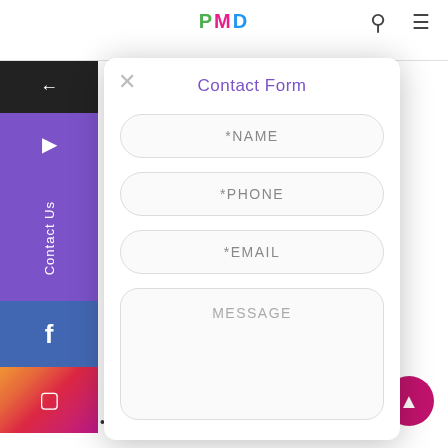PMD
Winnie the Pooh & Feyore
[Figure (screenshot): Contact Form modal overlay with fields: *NAME, *PHONE, *EMAIL, MESSAGE]
ox ~ Heart
T JT8D JET ETAL SIGN nwash & A3B
OUS SIZES mber Plate n ge dvert from UK
Coffee Cappuccino Espresso Latte Bar Cafe &